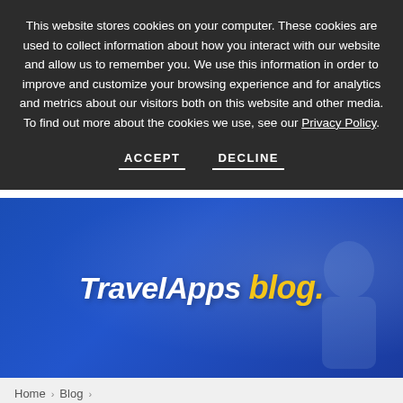This website stores cookies on your computer. These cookies are used to collect information about how you interact with our website and allow us to remember you. We use this information in order to improve and customize your browsing experience and for analytics and metrics about our visitors both on this website and other media. To find out more about the cookies we use, see our Privacy Policy.
ACCEPT   DECLINE
[Figure (other): Blue banner with white and yellow bold italic text reading 'TravelApps blog.' with a silhouette of a person in the background]
Home > Blog > Mantic Point to Power New Risk Management App SafetravelRX
Mantic Point to Power New Risk Management App SafetravelRX